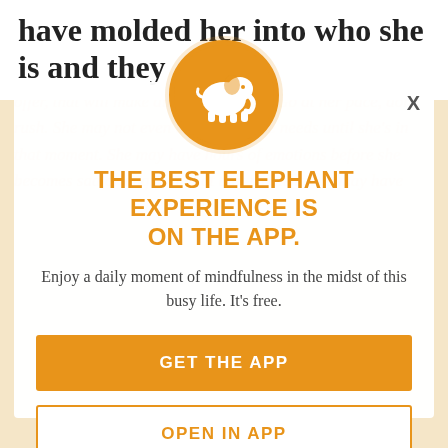have molded her into who she is and they
push her toward who she wants to be. If you listen, you will learn not only who she is, but who she needs to be. You will find hidden gems in her stories, things to avoid and things to offer, that will make all the difference. Go at her pace, don't rush. She may not even know what she needs until she's in that moment. She may have hours of emotions before she becomes sad or
[Figure (logo): Elephant Journal app logo: white elephant silhouette on orange circle]
THE BEST ELEPHANT EXPERIENCE IS ON THE APP.
Enjoy a daily moment of mindfulness in the midst of this busy life. It's free.
GET THE APP
OPEN IN APP